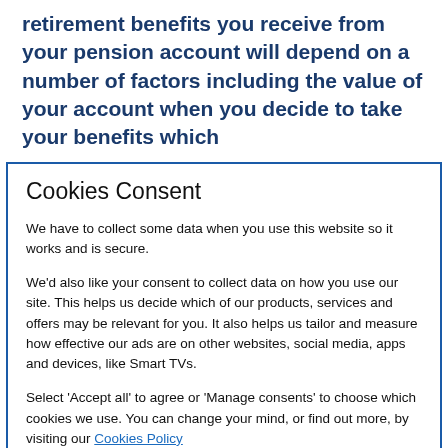retirement benefits you receive from your pension account will depend on a number of factors including the value of your account when you decide to take your benefits which
Cookies Consent
We have to collect some data when you use this website so it works and is secure.
We'd also like your consent to collect data on how you use our site. This helps us decide which of our products, services and offers may be relevant for you. It also helps us tailor and measure how effective our ads are on other websites, social media, apps and devices, like Smart TVs.
Select 'Accept all' to agree or 'Manage consents' to choose which cookies we use. You can change your mind, or find out more, by visiting our Cookies Policy
Accept all
Manage consents